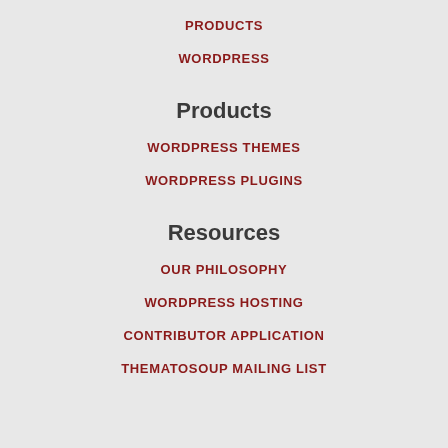PRODUCTS
WORDPRESS
Products
WORDPRESS THEMES
WORDPRESS PLUGINS
Resources
OUR PHILOSOPHY
WORDPRESS HOSTING
CONTRIBUTOR APPLICATION
THEMATOSOUP MAILING LIST